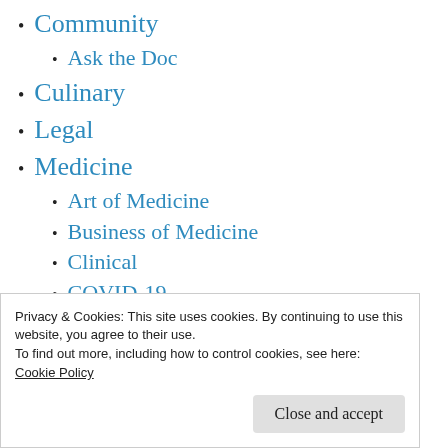Community
Ask the Doc
Culinary
Legal
Medicine
Art of Medicine
Business of Medicine
Clinical
COVID-19
Government
Informatics
Privacy & Cookies: This site uses cookies. By continuing to use this website, you agree to their use.
To find out more, including how to control cookies, see here:
Cookie Policy
Close and accept